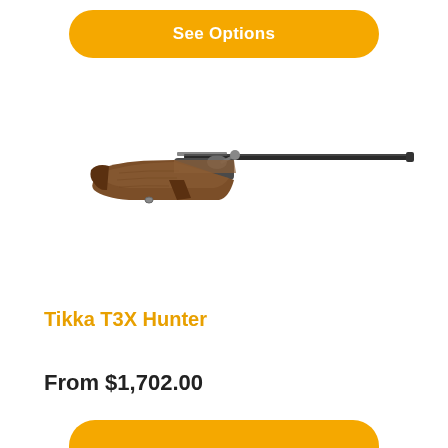See Options
[Figure (photo): Side-profile photograph of a Tikka T3X Hunter bolt-action rifle with brown wood stock and dark metal barrel, pointing right.]
Tikka T3X Hunter
From $1,702.00
See Options